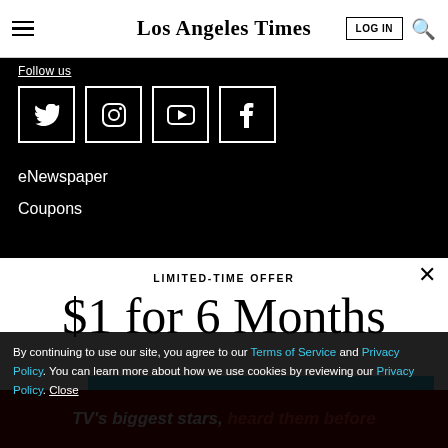Los Angeles Times
[Figure (screenshot): Social media icons: Twitter, Instagram, YouTube, Facebook in white bordered boxes on black background]
eNewspaper
Coupons
LIMITED-TIME OFFER
$1 for 6 Months
SUBSCRIBE NOW
By continuing to use our site, you agree to our Terms of Service and Privacy Policy. You can learn more about how we use cookies by reviewing our Privacy Policy. Close
TV's biggest stars, heard them before